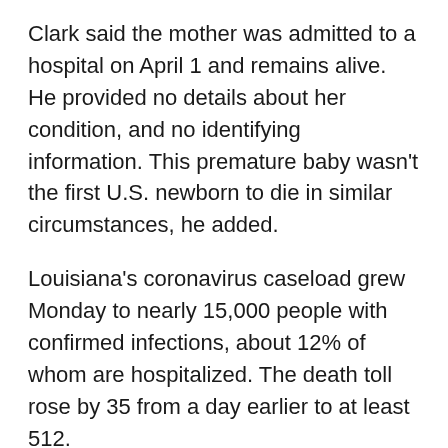Clark said the mother was admitted to a hospital on April 1 and remains alive. He provided no details about her condition, and no identifying information. This premature baby wasn't the first U.S. newborn to die in similar circumstances, he added.
Louisiana's coronavirus caseload grew Monday to nearly 15,000 people with confirmed infections, about 12% of whom are hospitalized. The death toll rose by 35 from a day earlier to at least 512.
If you feel sick:
The Florida Department of Health has opened a COVID-19 Call Center at 1-866-779-6121. Agents will answer questions around the clock. Questions may also be emailed to covid-19@flhealth.gov. Email responses